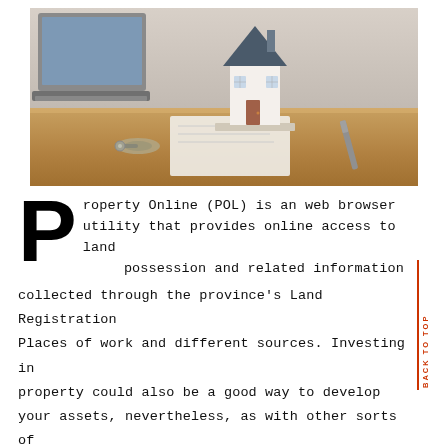[Figure (photo): A miniature house model placed on a wooden desk alongside a laptop computer and keys, representing real estate and property online services.]
Property Online (POL) is an web browser utility that provides online access to land possession and related information collected through the province's Land Registration Places of work and different sources. Investing in property could also be a good way to develop your assets, nevertheless, as with other sorts of investments, it is essential to do your research and search professional advice in the event you're uncertain about any aspect of the investment.